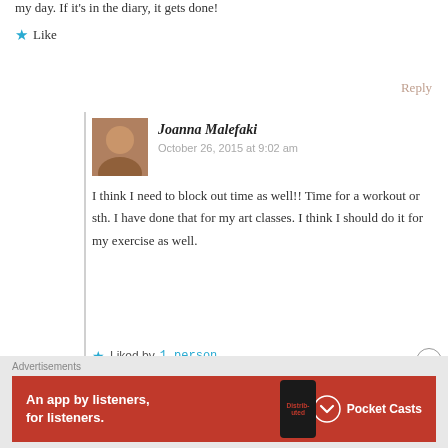my day. If it's in the diary, it gets done!
★ Like
Reply
Joanna Malefaki
October 26, 2015 at 9:02 am
I think I need to block out time as well!! Time for a workout or sth. I have done that for my art classes. I think I should do it for my exercise as well.
★ Liked by 1 person
Advertisements
[Figure (infographic): Red Pocket Casts advertisement banner reading 'An app by listeners, for listeners.' with a phone image and Pocket Casts logo]